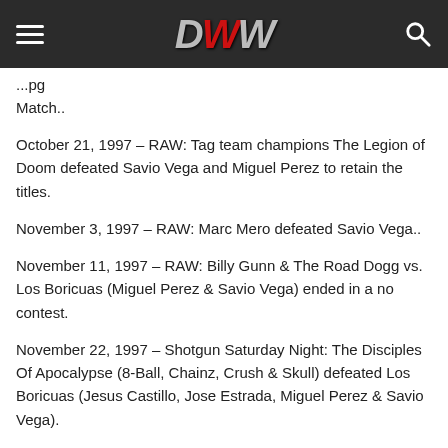OWW navigation header
...pg Match..
October 21, 1997 – RAW: Tag team champions The Legion of Doom defeated Savio Vega and Miguel Perez to retain the titles.
November 3, 1997 – RAW: Marc Mero defeated Savio Vega..
November 11, 1997 – RAW: Billy Gunn & The Road Dogg vs. Los Boricuas (Miguel Perez & Savio Vega) ended in a no contest.
November 22, 1997 – Shotgun Saturday Night: The Disciples Of Apocalypse (8-Ball, Chainz, Crush & Skull) defeated Los Boricuas (Jesus Castillo, Jose Estrada, Miguel Perez & Savio Vega).
November 24, 1997 – RAW: Ken Shamrock defeated Savio Vega..